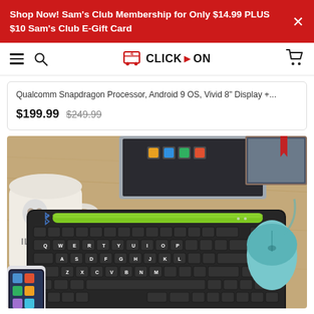Shop Now! Sam's Club Membership for Only $14.99 PLUS $10 Sam's Club E-Gift Card
[Figure (logo): Click-on website navigation bar with hamburger menu, search icon, Click-on logo with cart icon, and shopping cart icon]
Qualcomm Snapdragon Processor, Android 9 OS, Vivid 8" Display +...
$199.99  $249.99
[Figure (photo): Black wireless keyboard with green accent bar on a wooden desk, alongside a white mug with skull design, an iPhone, a laptop, books, and a teal wireless mouse]